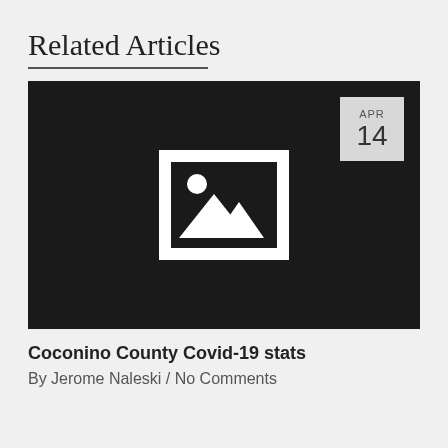Related Articles
[Figure (photo): Dark placeholder image with white image icon in the center and a date badge showing APR 14 in the top right corner]
Coconino County Covid-19 stats
By Jerome Naleski / No Comments